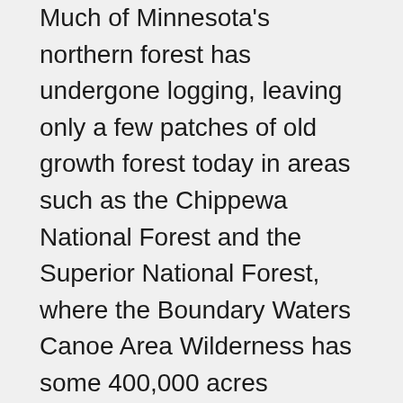Much of Minnesota's northern forest has undergone logging, leaving only a few patches of old growth forest today in areas such as the Chippewa National Forest and the Superior National Forest, where the Boundary Waters Canoe Area Wilderness has some 400,000 acres (162,000 ha) of unlogged land. Although logging continues, regrowth and replanting keep about a third of the state forested. Nearly all Minnesota's prairies and oak savannas have been fragmented by farming, grazing, logging, and suburban development.
While loss of habitat has affected native animals such as the pine marten, elk, woodland caribou, and bison, others like whitetail deer and bobcat thrive. Minnesota has the nation's largest population of timber wolves outside Alaska, and supports healthy populations of